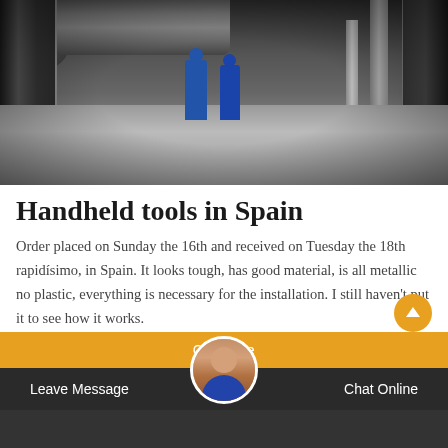[Figure (photo): Industrial scene with large pipes and machinery. Two workers in blue protective suits walking through a corridor between industrial pipes and equipment.]
Handheld tools in Spain
Order placed on Sunday the 16th and received on Tuesday the 18th rapidísimo, in Spain. It looks tough, has good material, is all metallic no plastic, everything is necessary for the installation. I still haven't put it to see how it works.
Leave Message   Chat Online